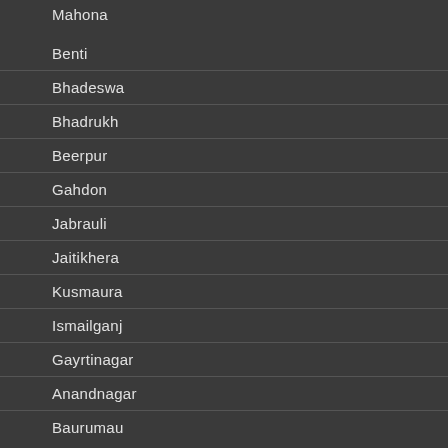Mahona
Benti
Bhadeswa
Bhadrukh
Beerpur
Gahdon
Jabrauli
Jaitikhera
Kusmaura
Ismailganj
Gayrtinagar
Anandnagar
Baurumau